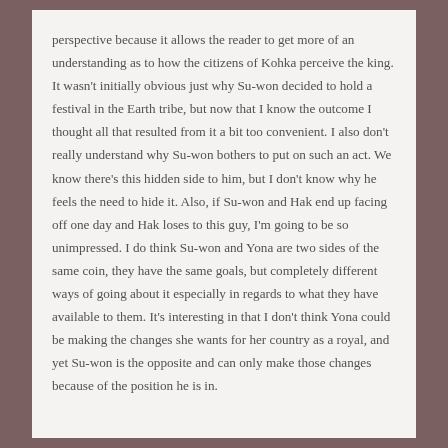perspective because it allows the reader to get more of an understanding as to how the citizens of Kohka perceive the king. It wasn't initially obvious just why Su-won decided to hold a festival in the Earth tribe, but now that I know the outcome I thought all that resulted from it a bit too convenient. I also don't really understand why Su-won bothers to put on such an act. We know there's this hidden side to him, but I don't know why he feels the need to hide it. Also, if Su-won and Hak end up facing off one day and Hak loses to this guy, I'm going to be so unimpressed. I do think Su-won and Yona are two sides of the same coin, they have the same goals, but completely different ways of going about it especially in regards to what they have available to them. It's interesting in that I don't think Yona could be making the changes she wants for her country as a royal, and yet Su-won is the opposite and can only make those changes because of the position he is in.